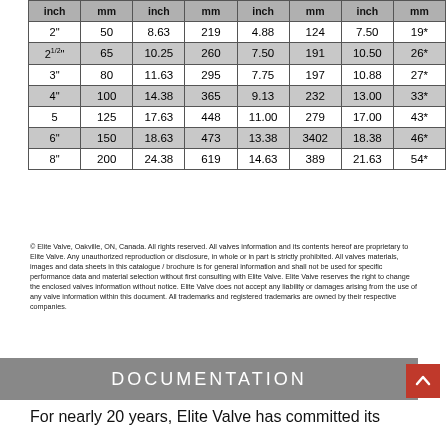| inch | mm | inch | mm | inch | mm | inch | mm |
| --- | --- | --- | --- | --- | --- | --- | --- |
| 2" | 50 | 8.63 | 219 | 4.88 | 124 | 7.50 | 19* |
| 2½" | 65 | 10.25 | 260 | 7.50 | 191 | 10.50 | 26* |
| 3" | 80 | 11.63 | 295 | 7.75 | 197 | 10.88 | 27* |
| 4" | 100 | 14.38 | 365 | 9.13 | 232 | 13.00 | 33* |
| 5 | 125 | 17.63 | 448 | 11.00 | 279 | 17.00 | 43* |
| 6" | 150 | 18.63 | 473 | 13.38 | 3402 | 18.38 | 46* |
| 8" | 200 | 24.38 | 619 | 14.63 | 389 | 21.63 | 54* |
© Elite Valve, Oakville, ON, Canada. All rights reserved. All valves information and its contents hereof are proprietary to Elite Valve. Any unauthorized reproduction or disclosure, in whole or in part is strictly prohibited. All valves materials, images and data sheets in this catalogue / brochure is for general information and shall not be used for specific performance data and material selection without first consulting with Elite Valve. Elite Valve reserves the right to change the enclosed valves information without notice. Elite Valve does not accept any liability or damages arising from the use of any valve information within this document. All trademarks and registered trademarks are owned by their respective companies.
DOCUMENTATION
For nearly 20 years, Elite Valve has committed its